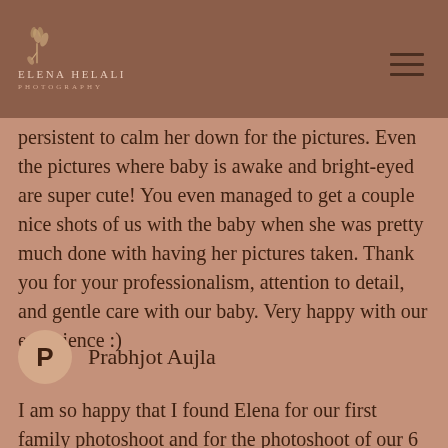[Figure (logo): Elena Helali Photography logo with floral illustration and text]
persistent to calm her down for the pictures. Even the pictures where baby is awake and bright-eyed are super cute! You even managed to get a couple nice shots of us with the baby when she was pretty much done with having her pictures taken. Thank you for your professionalism, attention to detail, and gentle care with our baby. Very happy with our experience :)
Prabhjot Aujla
I am so happy that I found Elena for our first family photoshoot and for the photoshoot of our 6 month Old. She is a very talented